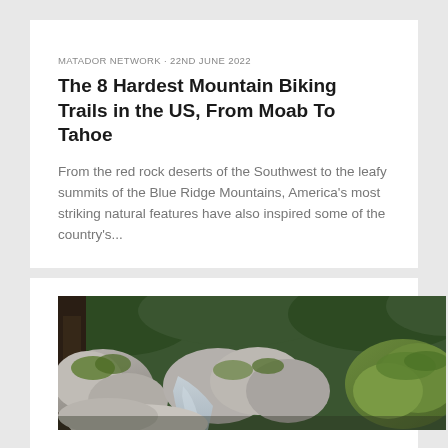MATADOR NETWORK · 22ND JUNE 2022
The 8 Hardest Mountain Biking Trails in the US, From Moab To Tahoe
From the red rock deserts of the Southwest to the leafy summits of the Blue Ridge Mountains, America's most striking natural features have also inspired some of the country's...
[Figure (photo): Rocky stream or riverbed scene with large boulders covered in moss and lichen, green foliage in background, narrow water passage between rocks]